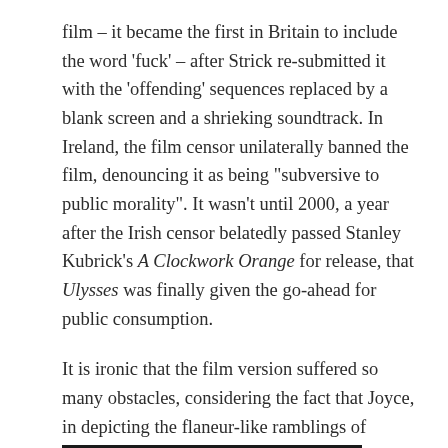film – it became the first in Britain to include the word 'fuck' – after Strick re-submitted it with the 'offending' sequences replaced by a blank screen and a shrieking soundtrack. In Ireland, the film censor unilaterally banned the film, denouncing it as being "subversive to public morality". It wasn't until 2000, a year after the Irish censor belatedly passed Stanley Kubrick's A Clockwork Orange for release, that Ulysses was finally given the go-ahead for public consumption.
It is ironic that the film version suffered so many obstacles, considering the fact that Joyce, in depicting the flaneur-like ramblings of Leopold Bloom in the novel, deployed a whole range of techniques such as montage and rapid scene dissolves which are more commonly associated with the cinema. Joyce was clearly a fan of the cinema as well, having opened the Volta, one of Ireland's first dedicated cinemas in Mary Street, Dublin in 1909.